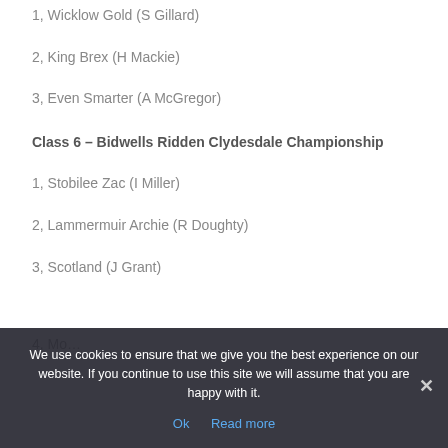1, Wicklow Gold (S Gillard)
2, King Brex (H Mackie)
3, Even Smarter (A McGregor)
Class 6 – Bidwells Ridden Clydesdale Championship
1, Stobilee Zac (I Miller)
2, Lammermuir Archie (R Doughty)
3, Scotland (J Grant)
We use cookies to ensure that we give you the best experience on our website. If you continue to use this site we will assume that you are happy with it.
Ok   Read more